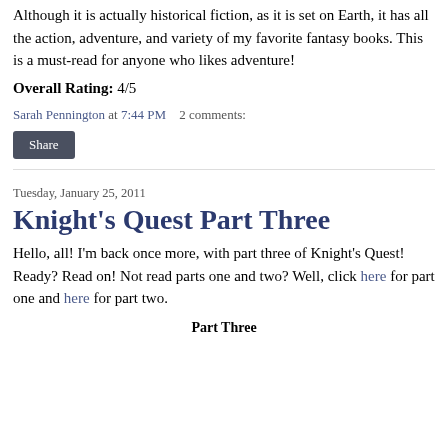Although it is actually historical fiction, as it is set on Earth, it has all the action, adventure, and variety of my favorite fantasy books. This is a must-read for anyone who likes adventure!
Overall Rating: 4/5
Sarah Pennington at 7:44 PM   2 comments:
Share
Tuesday, January 25, 2011
Knight's Quest Part Three
Hello, all! I'm back once more, with part three of Knight's Quest! Ready? Read on! Not read parts one and two? Well, click here for part one and here for part two.
Part Three